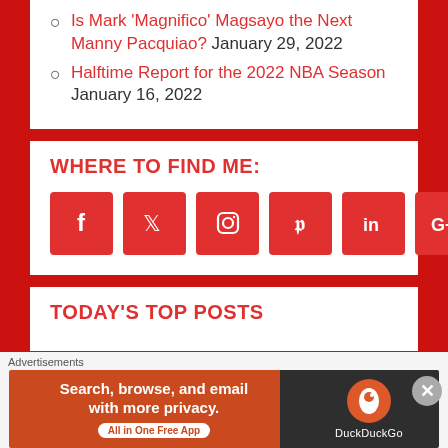Is Mark 'Magnifico' Magsayo the Next Manny Pacquiao? January 29, 2022
Halftime Report for the 2022 NBA Season January 16, 2022
WHERE TO FIND ME:
[Figure (infographic): Social media icons: Facebook, Twitter, Instagram, Pinterest, LinkedIn, Google+]
TODAY'S TOP POSTS
Advertisements
[Figure (screenshot): DuckDuckGo advertisement banner: Search, browse, and email with more privacy. All in One Free App]